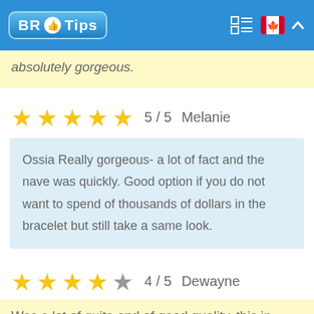BR Tips
absolutely gorgeous.
5 / 5  Melanie
Ossia Really gorgeous- a lot of fact and the nave was quickly. Good option if you do not want to spend of thousands of dollars in the bracelet but still take a same look.
4 / 5  Dewayne
Was a lot of quite and of good quality, this in spite